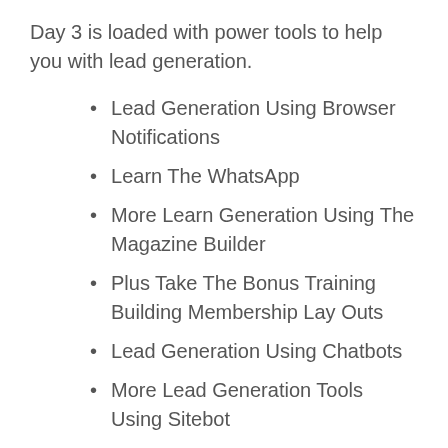Day 3 is loaded with power tools to help you with lead generation.
Lead Generation Using Browser Notifications
Learn The WhatsApp
More Learn Generation Using The Magazine Builder
Plus Take The Bonus Training Building Membership Lay Outs
Lead Generation Using Chatbots
More Lead Generation Tools Using Sitebot
For day 4 you get to learn all about building an online store;